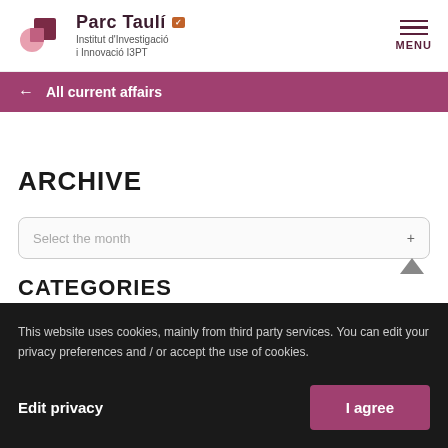Parc Taulí — Institut d'Investigació i Innovació I3PT — MENU
← All current affairs
ARCHIVE
Select the month
This website uses cookies, mainly from third party services. You can edit your privacy preferences and / or accept the use of cookies.
Edit privacy
I agree
CATEGORIES